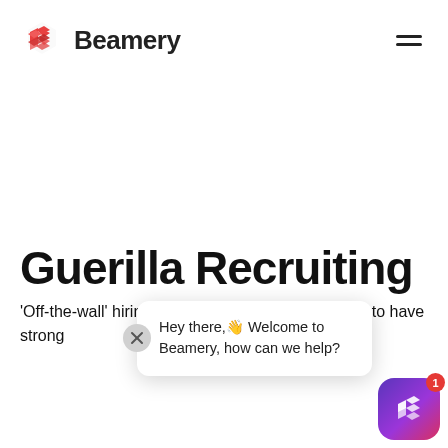Beamery
Guerilla Recruiting
'Off-the-wall' hiring problems in unique ways tend to have strong
[Figure (other): Chat widget overlay showing 'Hey there, Welcome to Beamery, how can we help?' with close button and Beamery launcher icon with badge showing 1]